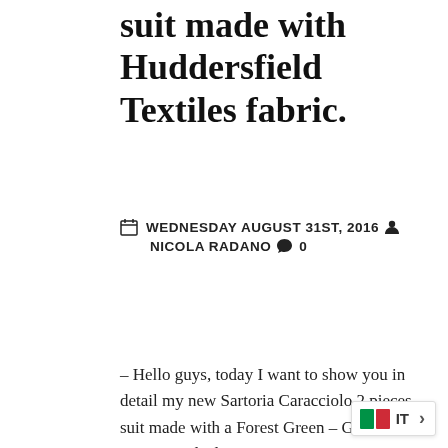suit made with Huddersfield Textiles fabric.
WEDNESDAY AUGUST 31ST, 2016 NICOLA RADANO 0
– Hello guys, today I want to show you in detail my new Sartoria Caracciolo 2 pieces suit made with a Forest Green – Gold Orange and Bl...